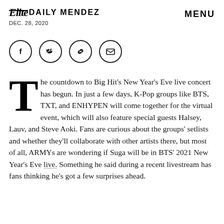Elite Daily MENDEZ DEC. 28, 2020 | MENU
[Figure (infographic): Social share icons: Facebook, Twitter, Link, Email — each in a circle]
The countdown to Big Hit's New Year's Eve live concert has begun. In just a few days, K-Pop groups like BTS, TXT, and ENHYPEN will come together for the virtual event, which will also feature special guests Halsey, Lauv, and Steve Aoki. Fans are curious about the groups' setlists and whether they'll collaborate with other artists there, but most of all, ARMYs are wondering if Suga will be in BTS' 2021 New Year's Eve live. Something he said during a recent livestream has fans thinking he's got a few surprises ahead.